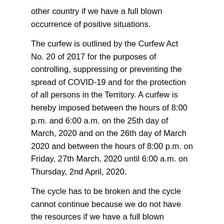other country if we have a full blown occurrence of positive situations.
The curfew is outlined by the Curfew Act No. 20 of 2017 for the purposes of controlling, suppressing or preventing the spread of COVID-19 and for the protection of all persons in the Territory. A curfew is hereby imposed between the hours of 8:00 p.m. and 6:00 a.m. on the 25th day of March, 2020 and on the 26th day of March 2020 and between the hours of 8:00 p.m. on Friday, 27th March, 2020 until 6:00 a.m. on Thursday, 2nd April, 2020.
The cycle has to be broken and the cycle cannot continue because we do not have the resources if we have a full blown situation of positive cases. So we have created through Cabinet, through signature of the Governor the curfew.
In terms of the businesses that the Governor outlined, the persons employed in the essential services as defined in section 3 of the labour code 2010, if they are on duty. This list will be printed, circulated and it will be readily available. These also include: